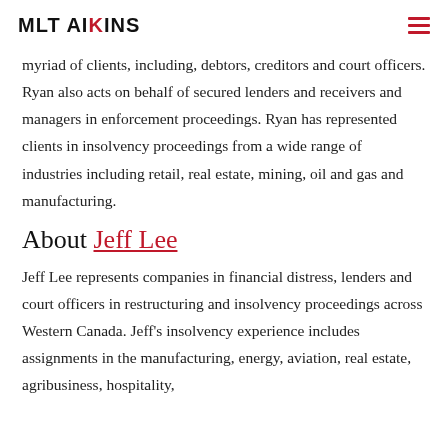MLT AIKINS
myriad of clients, including, debtors, creditors and court officers. Ryan also acts on behalf of secured lenders and receivers and managers in enforcement proceedings. Ryan has represented clients in insolvency proceedings from a wide range of industries including retail, real estate, mining, oil and gas and manufacturing.
About Jeff Lee
Jeff Lee represents companies in financial distress, lenders and court officers in restructuring and insolvency proceedings across Western Canada. Jeff's insolvency experience includes assignments in the manufacturing, energy, aviation, real estate, agribusiness, hospitality,